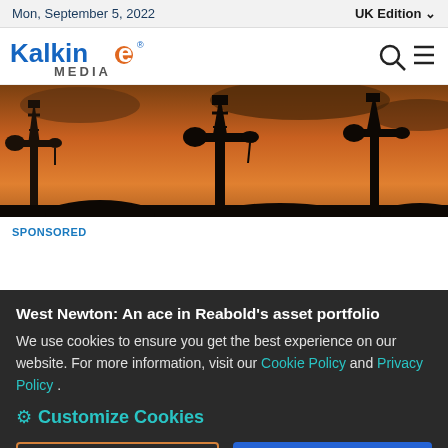Mon, September 5, 2022 | UK Edition
[Figure (logo): Kalkine Media logo — blue and orange text]
[Figure (photo): Oil pump jacks silhouetted against an orange sunset sky]
SPONSORED
West Newton: An ace in Reabold's asset portfolio
We use cookies to ensure you get the best experience on our website. For more information, visit our Cookie Policy and Privacy Policy .
⚙ Customize Cookies
Decline
Accept